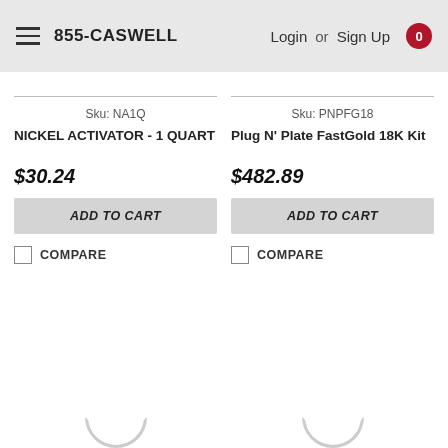855-CASWELL  Login or Sign Up  0
Sku: NA1Q
NICKEL ACTIVATOR - 1 QUART
$30.24
ADD TO CART
COMPARE
Sku: PNPFG18
Plug N' Plate FastGold 18K Kit
$482.89
ADD TO CART
COMPARE